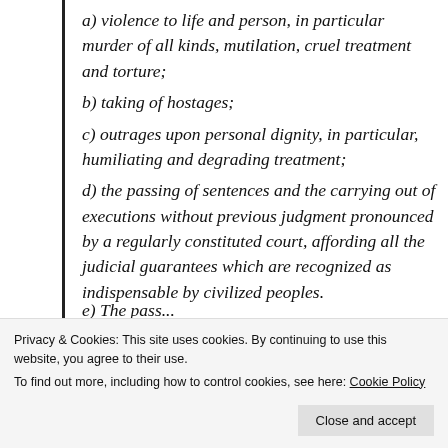a) violence to life and person, in particular murder of all kinds, mutilation, cruel treatment and torture;
b) taking of hostages;
c) outrages upon personal dignity, in particular, humiliating and degrading treatment;
d) the passing of sentences and the carrying out of executions without previous judgment pronounced by a regularly constituted court, affording all the judicial guarantees which are recognized as indispensable by civilized peoples.
Privacy & Cookies: This site uses cookies. By continuing to use this website, you agree to their use.
To find out more, including how to control cookies, see here: Cookie Policy
Who's Ready To Get To Work?